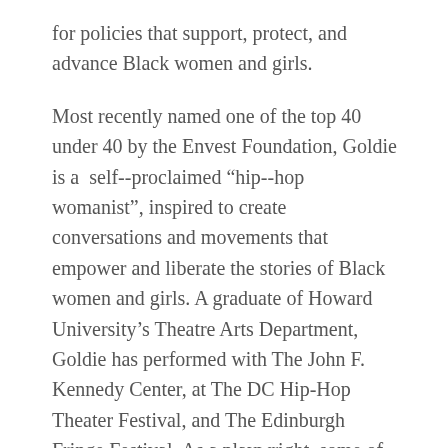for policies that support, protect, and advance Black women and girls.
Most recently named one of the top 40 under 40 by the Envest Foundation, Goldie is a self-proclaimed “hip-hop womanist”, inspired to create conversations and movements that empower and liberate the stories of Black women and girls. A graduate of Howard University’s Theatre Arts Department, Goldie has performed with The John F. Kennedy Center, at The DC Hip-Hop Theater Festival, and The Edinburgh Fringe Festival. As a playwright, some of Goldie’s award-winning works include “HERstory: Love Forever, Hip-Hop”, “Unpacked”, “Bite Me” and most recently, “Feminine Folklore”. After writing, directing, and producing